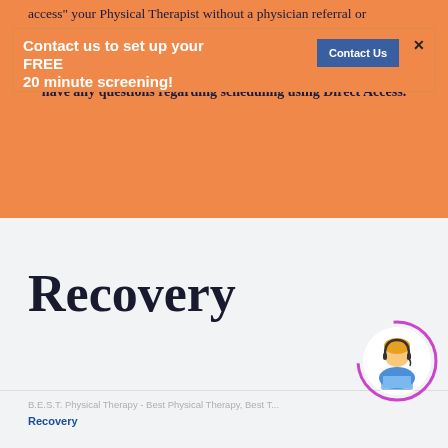access" your Physical Therapist without a physician referral or prescription. In addition, almost all insurances DO NOT require a physician referral or prescription in order to be evaluated and treated by a Physical Therapist either. Please email, call, or contact us if you have any questions regarding scheduling using Direct Access.
[Figure (infographic): Popup overlay with orange background reading 'Contact us to set up your FREE 20 minute screening!' with a blue 'Contact Us' button and an X close button]
Recovery
B.E.S.T. Physical Therapy - Best Physical Therapy, Best T...
Recovery
[Figure (illustration): Customer support chat widget: circular icon with animated purple ring, showing a female customer service avatar with headset, yellow hair, sitting at a laptop]